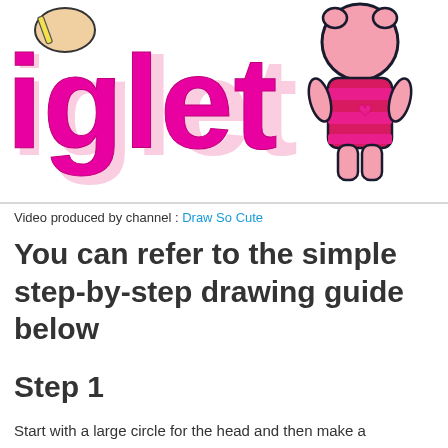[Figure (illustration): Cartoon drawing illustration showing partial text 'iglet' in bright magenta/pink bubble letters with a pink glow effect, and a cute cartoon character (Piglet from Winnie the Pooh) wearing a red and pink striped outfit with a small heart on it, alongside a hand holding a pencil or pen sketching the character.]
Video produced by channel : Draw So Cute
You can refer to the simple step-by-step drawing guide below
Step 1
Start with a large circle for the head and then make a